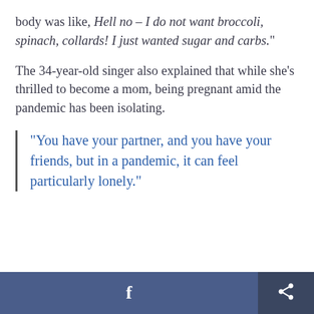body was like, Hell no – I do not want broccoli, spinach, collards! I just wanted sugar and carbs."
The 34-year-old singer also explained that while she's thrilled to become a mom, being pregnant amid the pandemic has been isolating.
"You have your partner, and you have your friends, but in a pandemic, it can feel particularly lonely."
[Figure (screenshot): Footer bar with Facebook share button (blue) and a share/export icon button (dark blue)]